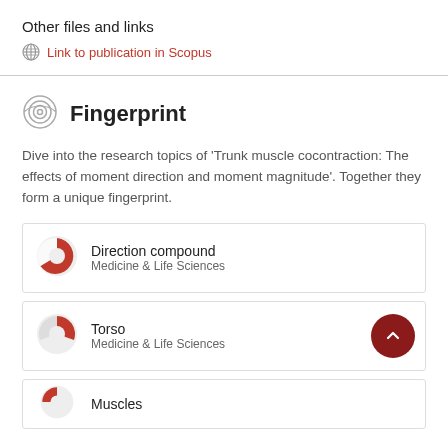Other files and links
Link to publication in Scopus
Fingerprint
Dive into the research topics of 'Trunk muscle cocontraction: The effects of moment direction and moment magnitude'. Together they form a unique fingerprint.
Direction compound
Medicine & Life Sciences
Torso
Medicine & Life Sciences
Muscles